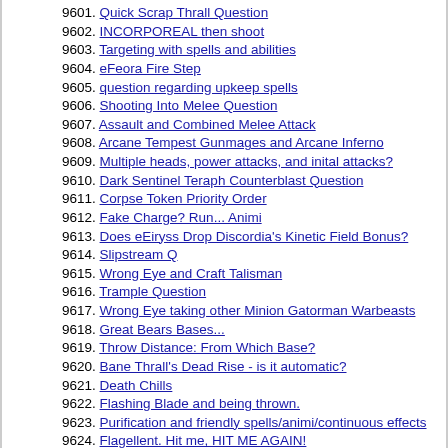9601. Quick Scrap Thrall Question
9602. INCORPOREAL then shoot
9603. Targeting with spells and abilities
9604. eFeora Fire Step
9605. question regarding upkeep spells
9606. Shooting Into Melee Question
9607. Assault and Combined Melee Attack
9608. Arcane Tempest Gunmages and Arcane Inferno
9609. Multiple heads, power attacks, and inital attacks?
9610. Dark Sentinel Teraph Counterblast Question
9611. Corpse Token Priority Order
9612. Fake Charge? Run... Animi
9613. Does eEiryss Drop Discordia's Kinetic Field Bonus?
9614. Slipstream Q
9615. Wrong Eye and Craft Talisman
9616. Trample Question
9617. Wrong Eye taking other Minion Gatorman Warbeasts
9618. Great Bears Bases...
9619. Throw Distance: From Which Base?
9620. Bane Thrall's Dead Rise - is it automatic?
9621. Death Chills
9622. Flashing Blade and being thrown.
9623. Purification and friendly spells/animi/continuous effects
9624. Flagellent. Hit me, HIT ME AGAIN!
9625. Polarity Shield Question
9626. Bane Thrall Questions
9627. Steamroller and minion locks.
9628. Slam Against Larger Based Models
9629. Noob Question